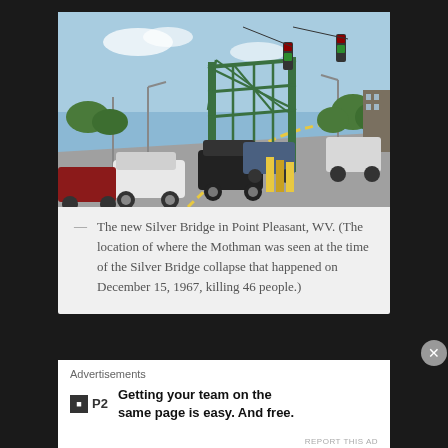[Figure (photo): The new Silver Bridge in Point Pleasant, WV. Cars driving across a green steel truss bridge with traffic lights visible overhead and trees in the background.]
— The new Silver Bridge in Point Pleasant, WV. (The location of where the Mothman was seen at the time of the Silver Bridge collapse that happened on December 15, 1967, killing 46 people.)
Advertisements
Getting your team on the same page is easy. And free.